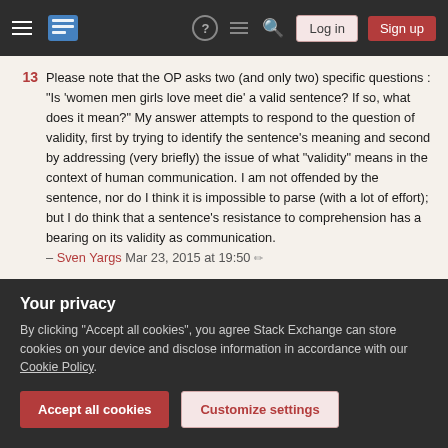Stack Exchange navigation bar with hamburger menu, logo, help, chat, search, Log in, Sign up buttons
13  Please note that the OP asks two (and only two) specific questions : "Is 'women men girls love meet die' a valid sentence? If so, what does it mean?" My answer attempts to respond to the question of validity, first by trying to identify the sentence's meaning and second by addressing (very briefly) the issue of what "validity" means in the context of human communication. I am not offended by the sentence, nor do I think it is impossible to parse (with a lot of effort); but I do think that a sentence's resistance to comprehension has a bearing on its validity as communication.
– Sven Yargs Mar 23, 2015 at 19:50 ✏
7  @SvenYargs The OP also adds parenthetically "Unless I am
Your privacy
By clicking "Accept all cookies", you agree Stack Exchange can store cookies on your device and disclose information in accordance with our Cookie Policy.
Accept all cookies   Customize settings